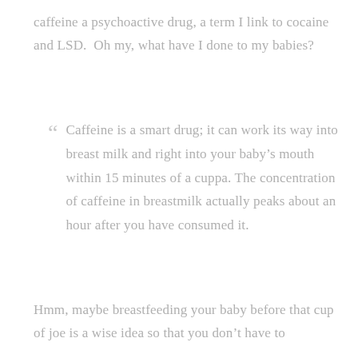caffeine a psychoactive drug, a term I link to cocaine and LSD.  Oh my, what have I done to my babies?
Caffeine is a smart drug; it can work its way into breast milk and right into your baby's mouth within 15 minutes of a cuppa. The concentration of caffeine in breastmilk actually peaks about an hour after you have consumed it.
Hmm, maybe breastfeeding your baby before that cup of joe is a wise idea so that you don't have to